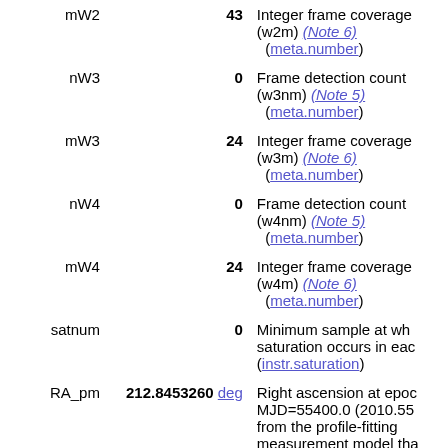| Name | Value | Description |
| --- | --- | --- |
| mW2 | 43 | Integer frame coverage (w2m) (Note 6) (meta.number) |
| nW3 | 0 | Frame detection count (w3nm) (Note 5) (meta.number) |
| mW3 | 24 | Integer frame coverage (w3m) (Note 6) (meta.number) |
| nW4 | 0 | Frame detection count (w4nm) (Note 5) (meta.number) |
| mW4 | 24 | Integer frame coverage (w4m) (Note 6) (meta.number) |
| satnum | 0 | Minimum sample at which saturation occurs in each (instr.saturation) |
| RA_pm | 212.8453260 deg | Right ascension at epoch MJD=55400.0 (2010.55) from the profile-fitting measurement model that includes motion. (pos.e...) |